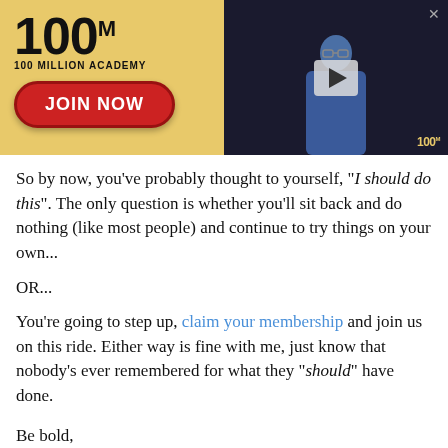[Figure (screenshot): 100 Million Academy banner ad with gold background on left showing '100M' logo, '100 MILLION ACADEMY' text, and a red 'JOIN NOW' button. Right side shows a dark video thumbnail with a man in blue shirt and a play button overlay. Small '100M' watermark in bottom right corner.]
So by now, you've probably thought to yourself, "I should do this". The only question is whether you'll sit back and do nothing (like most people) and continue to try things on your own...
OR...
You're going to step up, claim your membership and join us on this ride. Either way is fine with me, just know that nobody's ever remembered for what they "should" have done.
Be bold,
[Figure (illustration): Handwritten cursive signature reading 'Joel Marion']